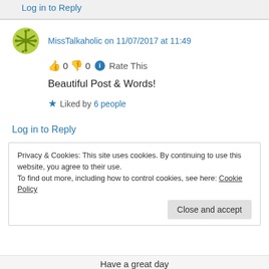Log in to Reply
MissTalkaholic on 11/07/2017 at 11:49
👍 0 👎 0 ℹ Rate This
Beautiful Post & Words!
★ Liked by 6 people
Log in to Reply
Privacy & Cookies: This site uses cookies. By continuing to use this website, you agree to their use.
To find out more, including how to control cookies, see here: Cookie Policy
Close and accept
Have a great day